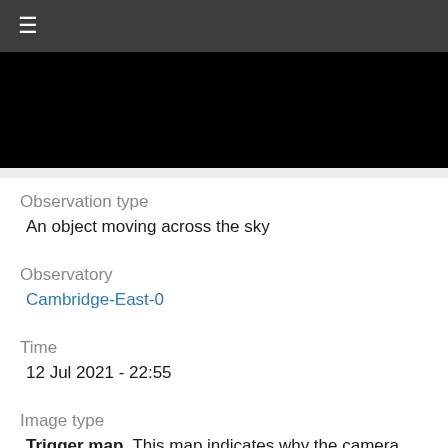≡
[Figure (photo): Black image area, likely a night sky or camera observation image]
Observation type
An object moving across the sky
Observatory
Cambridge-East-0
Time
12 Jul 2021 - 22:55
Image type
Trigger map. This map indicates why the camera